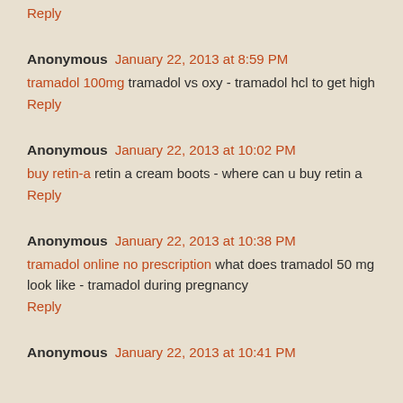Reply
Anonymous January 22, 2013 at 8:59 PM
tramadol 100mg tramadol vs oxy - tramadol hcl to get high
Reply
Anonymous January 22, 2013 at 10:02 PM
buy retin-a retin a cream boots - where can u buy retin a
Reply
Anonymous January 22, 2013 at 10:38 PM
tramadol online no prescription what does tramadol 50 mg look like - tramadol during pregnancy
Reply
Anonymous January 22, 2013 at 10:41 PM